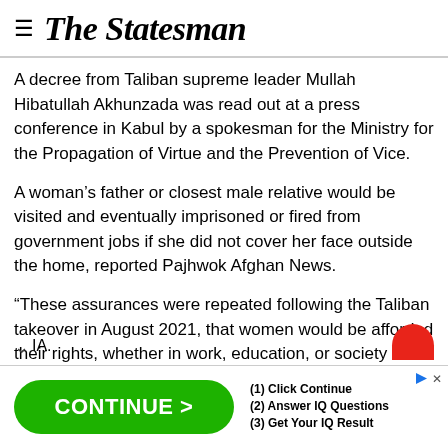The Statesman
A decree from Taliban supreme leader Mullah Hibatullah Akhunzada was read out at a press conference in Kabul by a spokesman for the Ministry for the Propagation of Virtue and the Prevention of Vice.
A woman’s father or closest male relative would be visited and eventually imprisoned or fired from government jobs if she did not cover her face outside the home, reported Pajhwok Afghan News.
“These assurances were repeated following the Taliban takeover in August 2021, that women would be afforded their rights, whether in work, education, or society at large,” said … IA.
[Figure (other): Advertisement banner: green CONTINUE > button on left, text on right: (1) Click Continue, (2) Answer IQ Questions, (3) Get Your IQ Result]